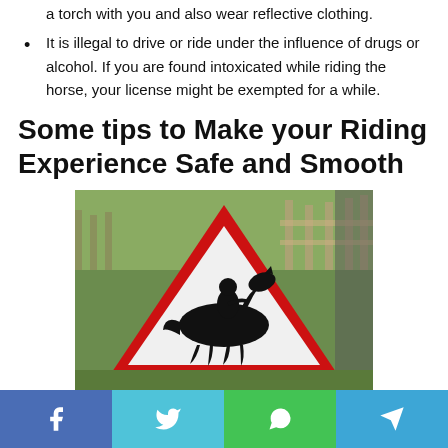a torch with you and also wear reflective clothing.
It is illegal to drive or ride under the influence of drugs or alcohol. If you are found intoxicated while riding the horse, your license might be exempted for a while.
Some tips to Make your Riding Experience Safe and Smooth
[Figure (photo): A triangular road warning sign with red border on white background showing a silhouette of a person riding a horse, mounted on a wooden post. Green grassy background with wooden fence posts visible.]
Social share bar with Facebook, Twitter, WhatsApp, and Telegram buttons